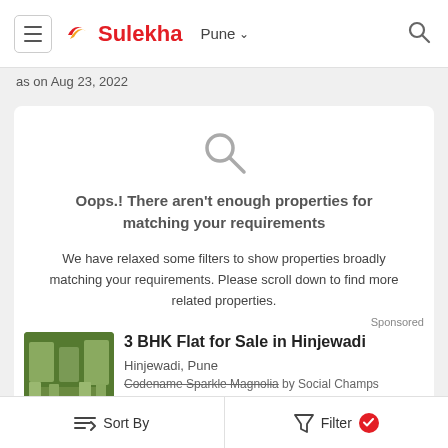Sulekha — Pune
as on Aug 23, 2022
[Figure (infographic): No results found message with magnifying glass icon, heading 'Oops.! There aren't enough properties for matching your requirements', and subtext about relaxed filters.]
3 BHK Flat for Sale in Hinjewadi
Hinjewadi, Pune
Codename Sparkle Magnolia by Social Champs
Sort By   Filter